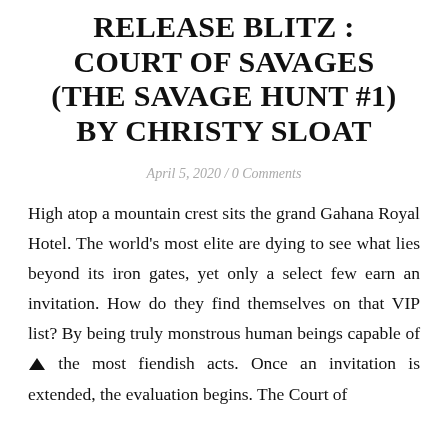RELEASE BLITZ: COURT OF SAVAGES (THE SAVAGE HUNT #1) BY CHRISTY SLOAT
April 5, 2020 / 0 Comments
High atop a mountain crest sits the grand Gahana Royal Hotel. The world's most elite are dying to see what lies beyond its iron gates, yet only a select few earn an invitation. How do they find themselves on that VIP list? By being truly monstrous human beings capable of the most fiendish acts. Once an invitation is extended, the evaluation begins. The Court of